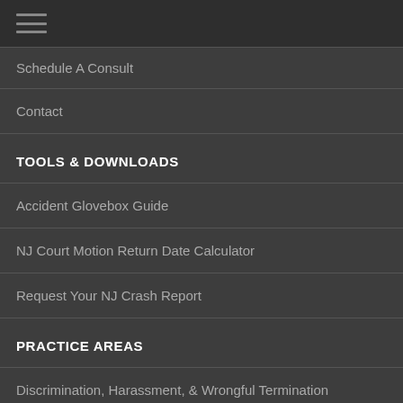[Figure (other): Hamburger menu icon (three horizontal lines) in dark top bar]
Schedule A Consult
Contact
TOOLS & DOWNLOADS
Accident Glovebox Guide
NJ Court Motion Return Date Calculator
Request Your NJ Crash Report
PRACTICE AREAS
Discrimination, Harassment, & Wrongful Termination
Employee Compensation & Labor...